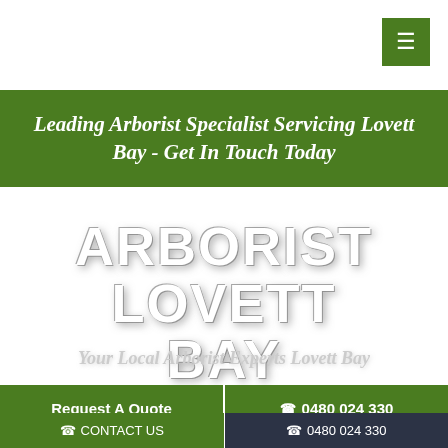[Figure (other): Green square menu/hamburger button in top right corner]
Leading Arborist Specialist Servicing Lovett Bay - Get In Touch Today
ARBORIST LOVETT BAY
Your Local Arborist Experts Lovett Bay
Request A Quote
0480 024 330
CONTACT US   0480 024 330